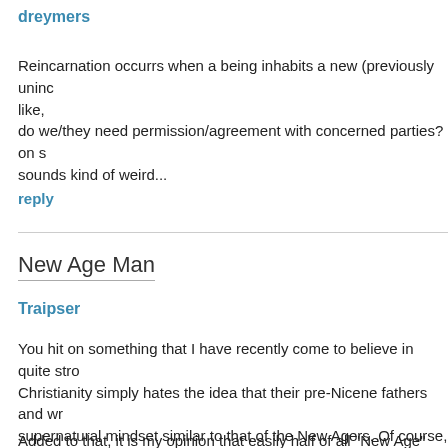dreymers
Reincarnation occurrs when a being inhabits a new (previously uninc... like,
do we/they need permission/agreement with concerned parties? on s...
sounds kind of weird...
reply
New Age Man
Traipser
You hit on something that I have recently come to believe in quite stro... Christianity simply hates the idea that their pre-Nicene fathers and wr... supernatural mindset similar to that of the New Agers. Of course, Tert... Alexandria, and Irenaeus had the written word of God to support them... lived their lives in God, whereas Ms Starshine Daffodyl of San Francis... crystal pyramid, some Deepak Chopra books-on-tape and a vague fe...
Added to that, it is my opinion that easily half of all "New Age" literat... money and power over the weak. As an industry, NA is at best flaky a... hypocritical and (dare I say) evil.